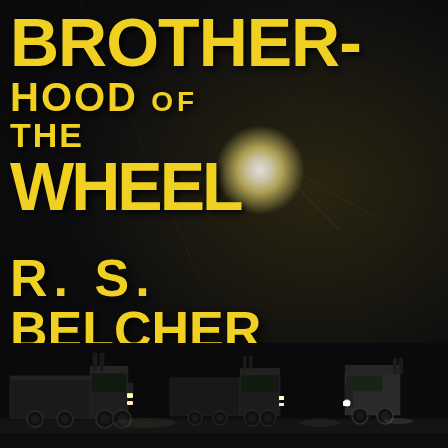[Figure (illustration): Book cover with dark background showing semi trucks at bottom, spotlight/light burst in center, with distressed yellow title text and author name.]
BROTHERHOOD OF THE WHEEL
R. S. BELCHER
AUTHOR OF NIGHTWISE